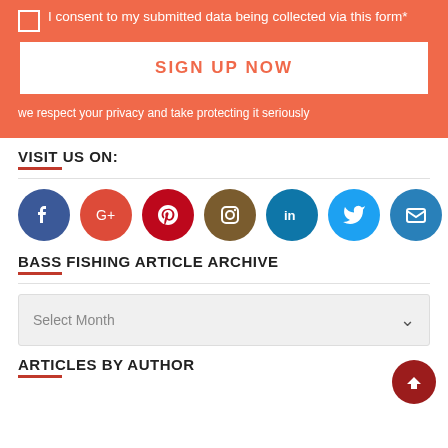I consent to my submitted data being collected via this form*
SIGN UP NOW
we respect your privacy and take protecting it seriously
VISIT US ON:
[Figure (infographic): Row of 7 social media icon circles: Facebook (blue), Google+ (red), Pinterest (dark red), Instagram (brown), LinkedIn (teal blue), Twitter (light blue), Email (blue)]
BASS FISHING ARTICLE ARCHIVE
Select Month
ARTICLES BY AUTHOR